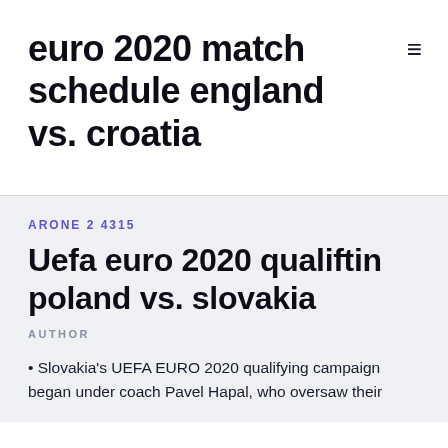euro 2020 match schedule england vs. croatia
ARONE 2 4315
Uefa euro 2020 qualiftin poland vs. slovakia
AUTHOR
• Slovakia's UEFA EURO 2020 qualifying campaign began under coach Pavel Hapal, who oversaw their